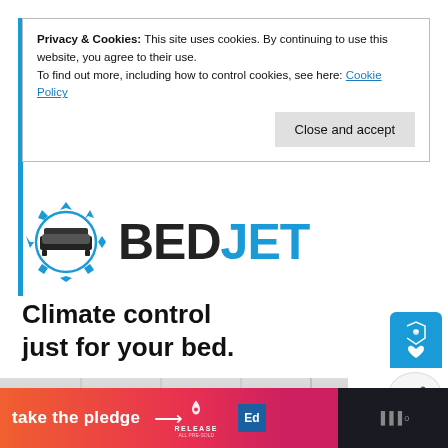Privacy & Cookies: This site uses cookies. By continuing to use this website, you agree to their use.
To find out more, including how to control cookies, see here: Cookie Policy
Close and accept
[Figure (logo): BedJet logo: circular icon with bed graphic and blue chevron arrows around it, beside bold text BEDJET where BED is dark gray and JET is blue]
Climate control just for your bed.
[Figure (photo): Product image showing BedJet device, white panels in background]
[Figure (infographic): Bottom banner: orange-to-pink gradient with text 'take the pledge' and arrow, Release logo, EdTech logo, dark section with microphone icons]
take the pledge →